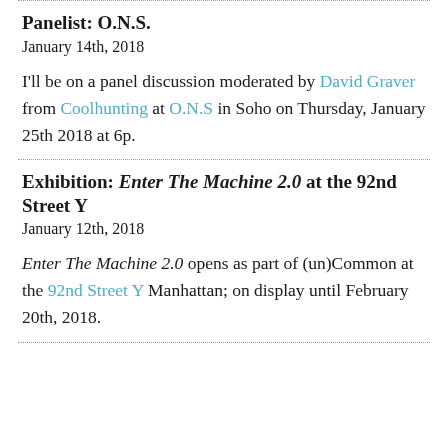Panelist: O.N.S.
January 14th, 2018
I'll be on a panel discussion moderated by David Graver from Coolhunting at O.N.S in Soho on Thursday, January 25th 2018 at 6p.
Exhibition: Enter The Machine 2.0 at the 92nd Street Y
January 12th, 2018
Enter The Machine 2.0 opens as part of (un)Common at the 92nd Street Y Manhattan; on display until February 20th, 2018.